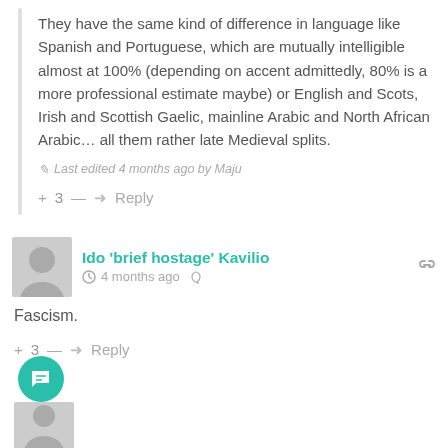They have the same kind of difference in language like Spanish and Portuguese, which are mutually intelligible almost at 100% (depending on accent admittedly, 80% is a more professional estimate maybe) or English and Scots, Irish and Scottish Gaelic, mainline Arabic and North African Arabic… all them rather late Medieval splits.
Last edited 4 months ago by Maju
+ 3 — ➜ Reply
Ido 'brief hostage' Kavilio   4 months ago
Fascism.
+ 3 — ➜ Reply